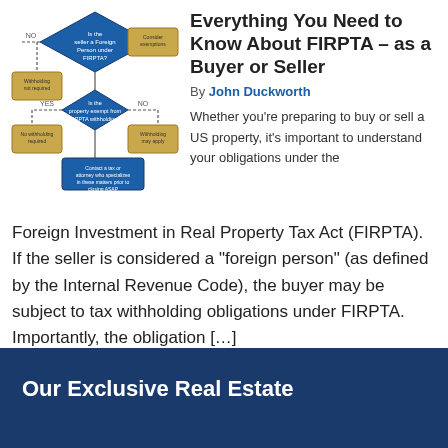[Figure (flowchart): A flowchart diagram with diamond decision nodes and rectangular action nodes in blue and tan/gold colors, showing a FIRPTA decision process with YES/NO branches]
Everything You Need to Know About FIRPTA – as a Buyer or Seller
By John Duckworth
Whether you're preparing to buy or sell a US property, it's important to understand your obligations under the Foreign Investment in Real Property Tax Act (FIRPTA). If the seller is considered a "foreign person" (as defined by the Internal Revenue Code), the buyer may be subject to tax withholding obligations under FIRPTA. Importantly, the obligation […]
Our Exclusive Real Estate